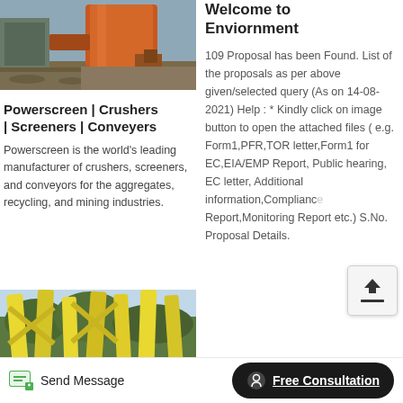[Figure (photo): Industrial machinery photo showing orange cylindrical drum/crusher equipment on dirt ground with blue-grey sky background]
Powerscreen | Crushers | Screeners | Conveyers
Powerscreen is the world's leading manufacturer of crushers, screeners, and conveyors for the aggregates, recycling, and mining industries.
[Figure (photo): Industrial photo showing yellow/green structural metal components]
Welcome to Enviornment
109 Proposal has been Found. List of the proposals as per above given/selected query (As on 14-08-2021) Help : * Kindly click on image button to open the attached files ( e.g. Form1,PFR,TOR letter,Form1 for EC,EIA/EMP Report, Public hearing, EC letter, Additional information,Compliance Report,Monitoring Report etc.) S.No. Proposal Details.
Send Message
Free Consultation